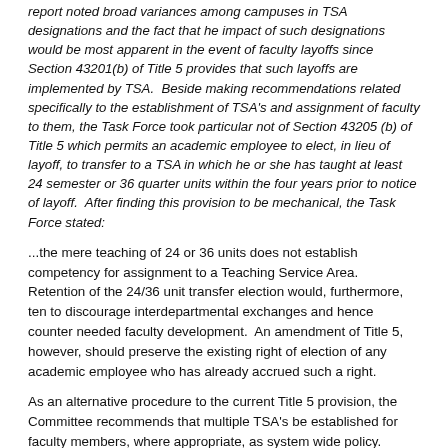report noted broad variances among campuses in TSA designations and the fact that he impact of such designations would be most apparent in the event of faculty layoffs since Section 43201(b) of Title 5 provides that such layoffs are implemented by TSA.  Beside making recommendations related specifically to the establishment of TSA's and assignment of faculty to them, the Task Force took particular not of Section 43205 (b) of Title 5 which permits an academic employee to elect, in lieu of layoff, to transfer to a TSA in which he or she has taught at least 24 semester or 36 quarter units within the four years prior to notice of layoff.  After finding this provision to be mechanical, the Task Force stated:
...the mere teaching of 24 or 36 units does not establish competency for assignment to a Teaching Service Area.  Retention of the 24/36 unit transfer election would, furthermore, ten to discourage interdepartmental exchanges and hence counter needed faculty development.  An amendment of Title 5, however, should preserve the existing right of election of any academic employee who has already accrued such a right.
As an alternative procedure to the current Title 5 provision, the Committee recommends that multiple TSA's be established for faculty members, where appropriate, as system wide policy.  When multiple TSA's are designated for a faculty member, one of these